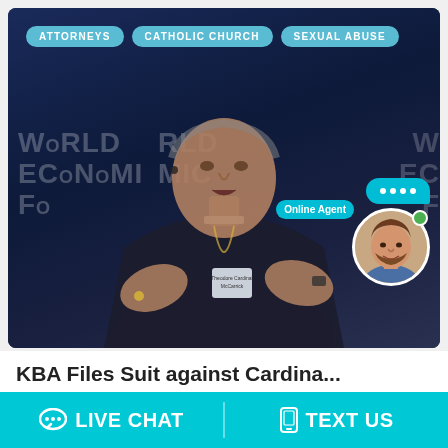[Figure (photo): Photograph of an elderly Catholic cardinal or bishop speaking at a World Economic Forum event, with microphone, wearing clerical collar and a name badge reading 'Cardinal McCarrick'. Background shows World Economic Forum signage. Overlay tags reading ATTORNEYS, CATHOLIC CHURCH, SEXUAL ABUSE. A live chat widget with agent photo appears in the lower right.]
KBA Files Suit against Cardina...
LIVE CHAT   TEXT US